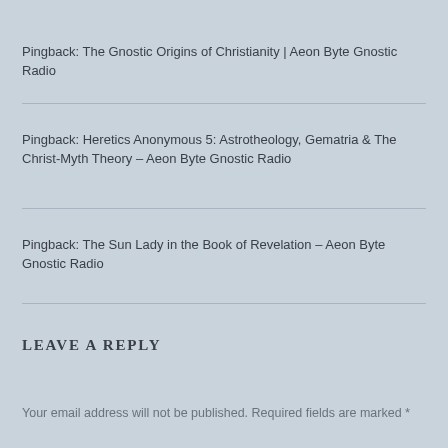Pingback: The Gnostic Origins of Christianity | Aeon Byte Gnostic Radio
Pingback: Heretics Anonymous 5: Astrotheology, Gematria & The Christ-Myth Theory – Aeon Byte Gnostic Radio
Pingback: The Sun Lady in the Book of Revelation – Aeon Byte Gnostic Radio
LEAVE A REPLY
Your email address will not be published. Required fields are marked *